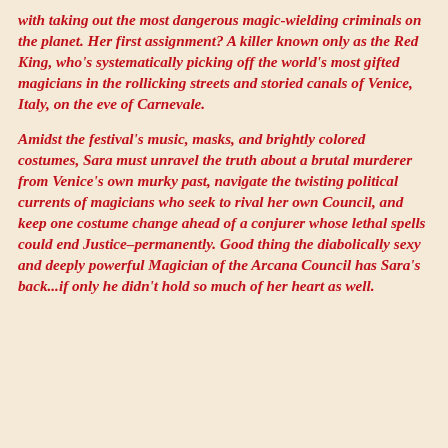with taking out the most dangerous magic-wielding criminals on the planet. Her first assignment? A killer known only as the Red King, who's systematically picking off the world's most gifted magicians in the rollicking streets and storied canals of Venice, Italy, on the eve of Carnevale.
Amidst the festival's music, masks, and brightly colored costumes, Sara must unravel the truth about a brutal murderer from Venice's own murky past, navigate the twisting political currents of magicians who seek to rival her own Council, and keep one costume change ahead of a conjurer whose lethal spells could end Justice–permanently. Good thing the diabolically sexy and deeply powerful Magician of the Arcana Council has Sara's back...if only he didn't hold so much of her heart as well.